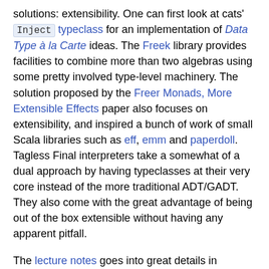solutions: extensibility. One can first look at cats' Inject typeclass for an implementation of Data Type à la Carte ideas. The Freek library provides facilities to combine more than two algebras using some pretty involved type-level machinery. The solution proposed by the Freer Monads, More Extensible Effects paper also focuses on extensibility, and inspired a bunch of work of small Scala libraries such as eff, emm and paperdoll. Tagless Final interpreters take a somewhat of a dual approach by having typeclasses at their very core instead of the more traditional ADT/GADT. They also come with the great advantage of being out of the box extensible without having any apparent pitfall.
The lecture notes goes into great details in presenting and comparing both ADT/GADT and typeclass based approaches, referencing the